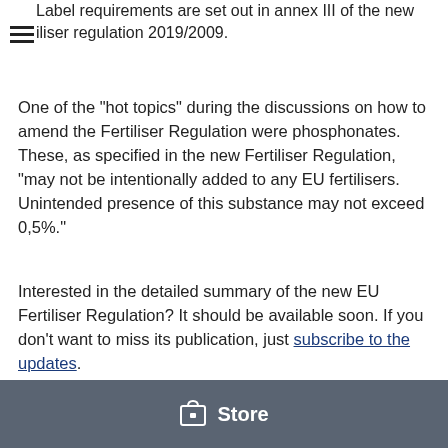Label requirements are set out in annex III of the new fertiliser regulation 2019/2009.
One of the "hot topics" during the discussions on how to amend the Fertiliser Regulation were phosphonates. These, as specified in the new Fertiliser Regulation, "may not be intentionally added to any EU fertilisers. Unintended presence of this substance may not exceed 0,5%."
Interested in the detailed summary of the new EU Fertiliser Regulation? It should be available soon. If you don't want to miss its publication, just subscribe to the updates.
Store